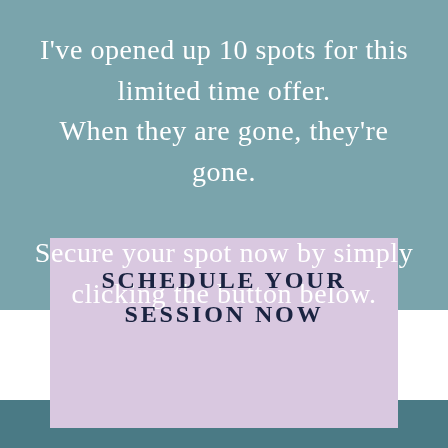I've opened up 10 spots for this limited time offer. When they are gone, they're gone.

Secure your spot now by simply clicking the button below.
SCHEDULE YOUR SESSION NOW